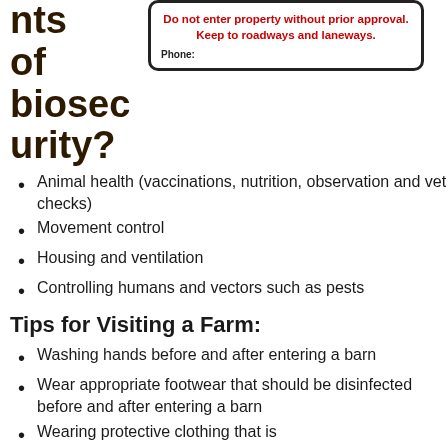nents of biosecurity?
[Figure (other): Biosecurity sign with red text: Do not enter property without prior approval. Keep to roadways and laneways. Phone:]
Animal health (vaccinations, nutrition, observation and vet checks)
Movement control
Housing and ventilation
Controlling humans and vectors such as pests
Tips for Visiting a Farm:
Washing hands before and after entering a barn
Wear appropriate footwear that should be disinfected before and after entering a barn
Wearing protective clothing that is...